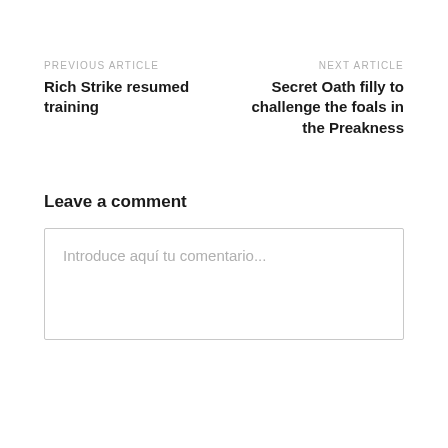PREVIOUS ARTICLE
Rich Strike resumed training
NEXT ARTICLE
Secret Oath filly to challenge the foals in the Preakness
Leave a comment
Introduce aquí tu comentario...